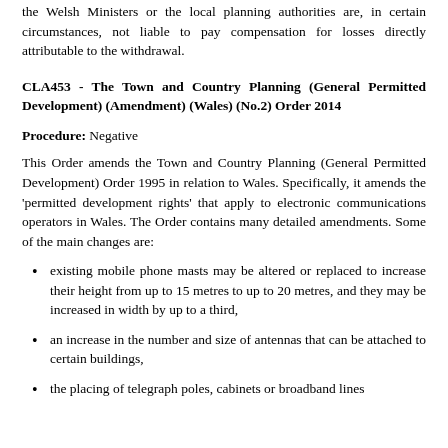the Welsh Ministers or the local planning authorities are, in certain circumstances, not liable to pay compensation for losses directly attributable to the withdrawal.
CLA453 - The Town and Country Planning (General Permitted Development) (Amendment) (Wales) (No.2) Order 2014
Procedure: Negative
This Order amends the Town and Country Planning (General Permitted Development) Order 1995 in relation to Wales. Specifically, it amends the 'permitted development rights' that apply to electronic communications operators in Wales. The Order contains many detailed amendments. Some of the main changes are:
existing mobile phone masts may be altered or replaced to increase their height from up to 15 metres to up to 20 metres, and they may be increased in width by up to a third,
an increase in the number and size of antennas that can be attached to certain buildings,
the placing of telegraph poles, cabinets or broadband lines...